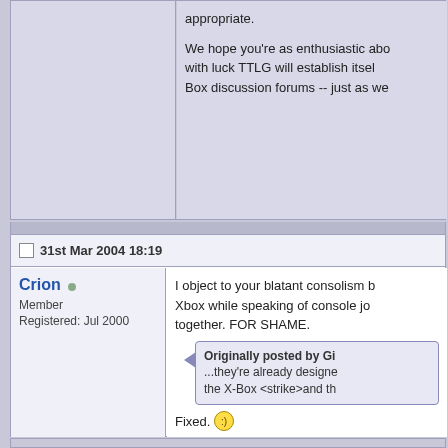appropriate.
We hope you're as enthusiastic abo... with luck TTLG will establish itsel... Box discussion forums -- just as we...
31st Mar 2004 18:19
Crion
Member
Registered: Jul 2000
I object to your blatant consolism b... Xbox while speaking of console jo... together. FOR SHAME.
Originally posted by G... ...they're already designe... the X-Box <strike>and th...
Fixed. :)
Anyway, how about just a Console... ignoring other systems? Eh? HOW...
<3 <3 <3